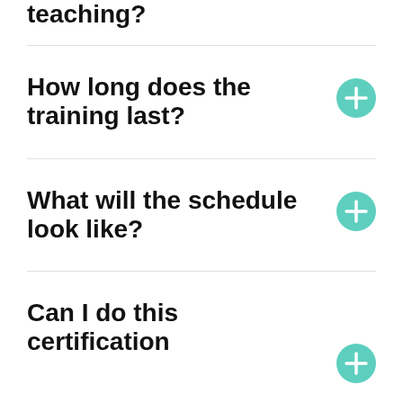teaching?
How long does the training last?
What will the schedule look like?
Can I do this certification